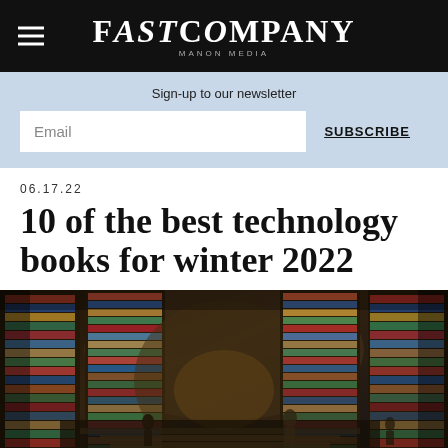FAST COMPANY
Sign-up to our newsletter
Email
SUBSCRIBE
06.17.22
10 of the best technology books for winter 2022
[Figure (photo): Interior of a large multi-story bookstore with floor-to-ceiling shelves filled with colorful books, dramatic lighting, and people browsing among the stacks]